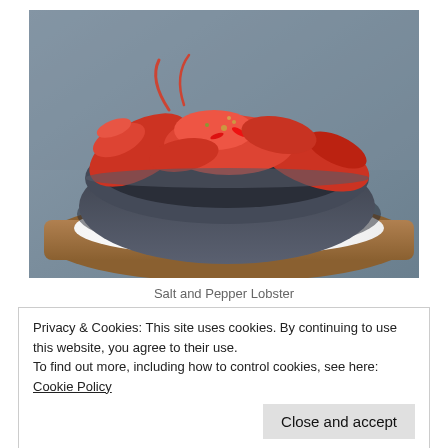[Figure (photo): A dark ceramic bowl filled with cooked lobster pieces seasoned with salt and pepper, placed on a striped cloth and wooden tray, photographed from above at an angle.]
Salt and Pepper Lobster
Privacy & Cookies: This site uses cookies. By continuing to use this website, you agree to their use.
To find out more, including how to control cookies, see here: Cookie Policy
Close and accept
when it comes to lemongrass, fish sauce, ginger and